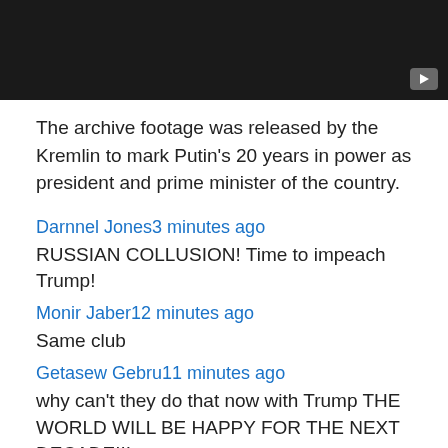[Figure (screenshot): Dark video thumbnail with play button in bottom right corner]
The archive footage was released by the Kremlin to mark Putin's 20 years in power as president and prime minister of the country.
Darnnel Jones3 minutes ago
RUSSIAN COLLUSION! Time to impeach Trump!
Monir Jaber12 minutes ago
Same club
Getasew Gebru11 minutes ago
why can't they do that now with Trump THE WORLD WILL BE HAPPY FOR THE NEXT DECADE!!!
NAYKD POET7 minutes ago
Does this not suggest maybe the majority of common people are being played as fools? When present, and